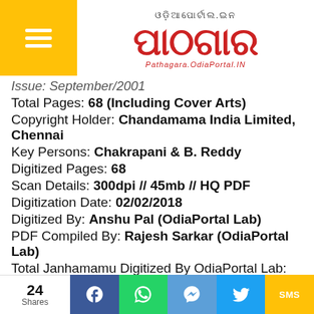Pathagara.OdiaPortal.IN
Issue: September/2001
Total Pages: 68 (Including Cover Arts)
Copyright Holder: Chandamama India Limited, Chennai
Key Persons: Chakrapani & B. Reddy
Digitized Pages: 68
Scan Details: 300dpi // 45mb // HQ PDF
Digitization Date: 02/02/2018
Digitized By: Anshu Pal (OdiaPortal Lab)
PDF Compiled By: Rajesh Sarkar (OdiaPortal Lab)
Total Janhamamu Digitized By OdiaPortal Lab:
24 Shares | Facebook | WhatsApp | Messenger | Twitter | SMS